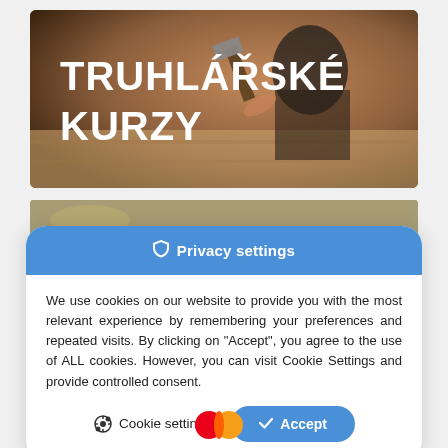[Figure (photo): Hero banner image showing a person doing woodworking/carpentry, hammering wood. Bold white text overlay reads 'TRUHLÁŘSKÉ KURZY' (Carpentry Courses in Czech).]
[Figure (photo): Partial second image strip showing a woodworking scene, partially covered by the cookie dialog.]
Privacy settings
We use cookies on our website to provide you with the most relevant experience by remembering your preferences and repeated visits. By clicking on "Accept", you agree to the use of ALL cookies. However, you can visit Cookie Settings and provide controlled consent.
Cookie settings
Accept
[Figure (logo): Mastercard logo (red and orange overlapping circles) partially visible at the bottom of the page.]